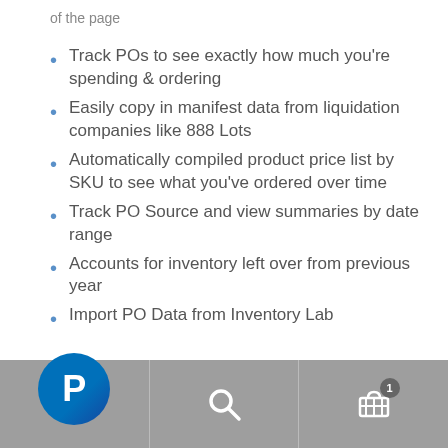of the page
Track POs to see exactly how much you're spending & ordering
Easily copy in manifest data from liquidation companies like 888 Lots
Automatically compiled product price list by SKU to see what you've ordered over time
Track PO Source and view summaries by date range
Accounts for inventory left over from previous year
Import PO Data from Inventory Lab
[Figure (screenshot): Mobile app bottom navigation bar with PayPal logo button on left, search icon in center, and shopping cart with badge showing 1 item on right, on gray background]